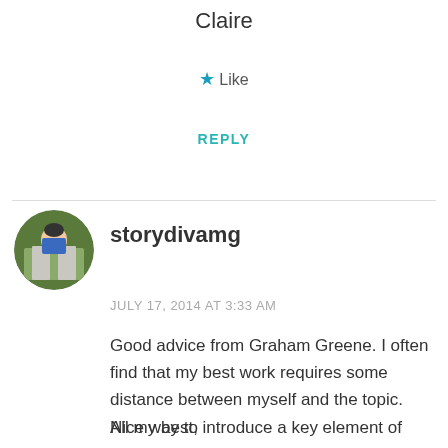Claire
★ Like
REPLY
[Figure (photo): Circular avatar photo of a person in a blue shirt standing near a stone monument outdoors]
storydivamg
JULY 17, 2014 AT 3:33 AM
Good advice from Graham Greene. I often find that my best work requires some distance between myself and the topic. Nice way to introduce a key element of writing.
All my best,